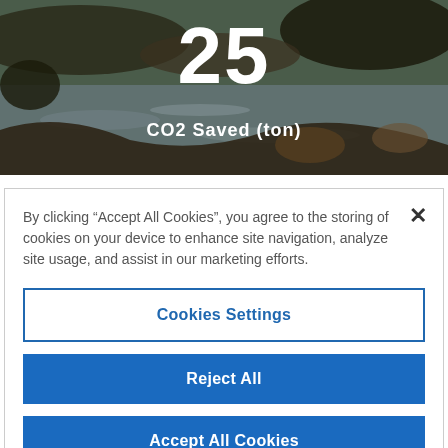[Figure (photo): Background photo of a forest/wetland scene with dark soil, water reflection, and vegetation. Overlaid with large white number '25' and text 'CO2 Saved (ton)'.]
Creating value of forest
By clicking “Accept All Cookies”, you agree to the storing of cookies on your device to enhance site navigation, analyze site usage, and assist in our marketing efforts.
Cookies Settings
Reject All
Accept All Cookies